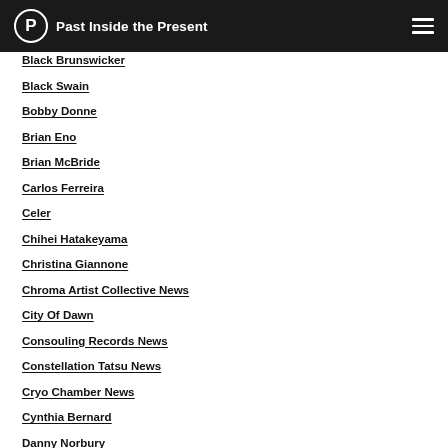Past Inside the Present
Black Brunswicker
Black Swain
Bobby Donne
Brian Eno
Brian McBride
Carlos Ferreira
Celer
Chihei Hatakeyama
Christina Giannone
Chroma Artist Collective News
City Of Dawn
Consouling Records News
Constellation Tatsu News
Cryo Chamber News
Cynthia Bernard
Danny Norbury
Dave Mantel
Dawn Chorus And The Infallible Sea
Dennis Huddleston